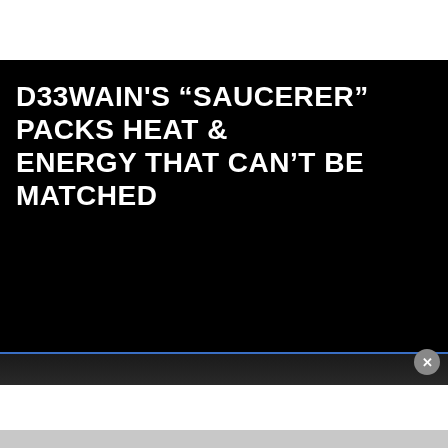D33WAIN'S “SAUCERER” PACKS HEAT & ENERGY THAT CAN’T BE MATCHED
[Figure (screenshot): Black video player background with white title text and infolinks overlay bar at bottom]
infolinks